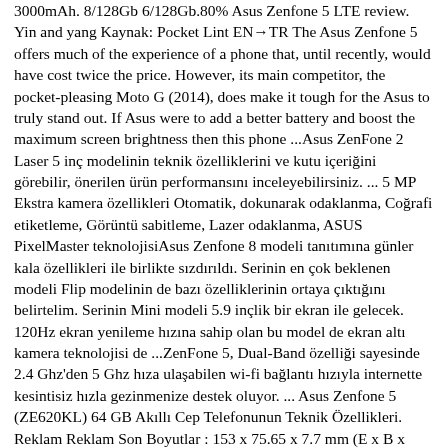3000mAh. 8/128Gb 6/128Gb.80% Asus Zenfone 5 LTE review. Yin and yang Kaynak: Pocket Lint EN→TR The Asus Zenfone 5 offers much of the experience of a phone that, until recently, would have cost twice the price. However, its main competitor, the pocket-pleasing Moto G (2014), does make it tough for the Asus to truly stand out. If Asus were to add a better battery and boost the maximum screen brightness then this phone ...Asus ZenFone 2 Laser 5 inç modelinin teknik özelliklerini ve kutu içeriğini görebilir, önerilen ürün performansını inceleyebilirsiniz. ... 5 MP Ekstra kamera özellikleri Otomatik, dokunarak odaklanma, Coğrafi etiketleme, Görüntü sabitleme, Lazer odaklanma, ASUS PixelMaster teknolojisiAsus Zenfone 8 modeli tanıtımına günler kala özellikleri ile birlikte sızdırıldı. Serinin en çok beklenen modeli Flip modelinin de bazı özelliklerinin ortaya çıktığını belirtelim. Serinin Mini modeli 5.9 inçlik bir ekran ile gelecek. 120Hz ekran yenileme hızına sahip olan bu model de ekran altı kamera teknolojisi de ...ZenFone 5, Dual-Band özelliği sayesinde 2.4 Ghz'den 5 Ghz hıza ulaşabilen wi-fi bağlantı hızıyla internette kesintisiz hızla gezinmenize destek oluyor. ... Asus Zenfone 5 (ZE620KL) 64 GB Akıllı Cep Telefonunun Teknik Özellikleri. Reklam Reklam Son Boyutlar : 153 x 75.65 x 7.7 mm (E x B x Y)ASUS ZenFone 4 Pro ZS551K (ABD MODELİ) Özellikleri. 5.5 inç Ekran (AMOLED ekran olabilir) 1920×1080 px çözünürlük Qualcomm Snapdragon 835 2.45 GHz 8 çekirdek işlemci 6GB RAM, 64GB dahili depolama Bluetooth 4.2, NFC, 802.11ac Wi-Fi 3600... Akıllı Android 7.1.0 3 inç t 7.6 aaabalab b Asus b mini dir